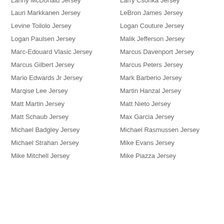Lanny McDonald Jersey
Larry Csonka Jersey
Lauri Markkanen Jersey
LeBron James Jersey
Levine Toilolo Jersey
Logan Couture Jersey
Logan Paulsen Jersey
Malik Jefferson Jersey
Marc-Edouard Vlasic Jersey
Marcus Davenport Jersey
Marcus Gilbert Jersey
Marcus Peters Jersey
Mario Edwards Jr Jersey
Mark Barberio Jersey
Marqise Lee Jersey
Martin Hanzal Jersey
Matt Martin Jersey
Matt Nieto Jersey
Matt Schaub Jersey
Max Garcia Jersey
Michael Badgley Jersey
Michael Rasmussen Jersey
Michael Strahan Jersey
Mike Evans Jersey
Mike Mitchell Jersey
Mike Piazza Jersey